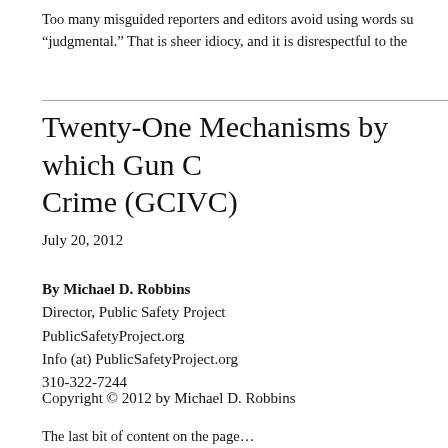Too many misguided reporters and editors avoid using words su… “judgmental.” That is sheer idiocy, and it is disrespectful to the…
Twenty-One Mechanisms by which Gun C… Crime (GCIVC)
July 20, 2012
By Michael D. Robbins
Director, Public Safety Project
PublicSafetyProject.org
Info (at) PublicSafetyProject.org
310-322-7244
Copyright © 2012 by Michael D. Robbins
The last bit of content on the page…